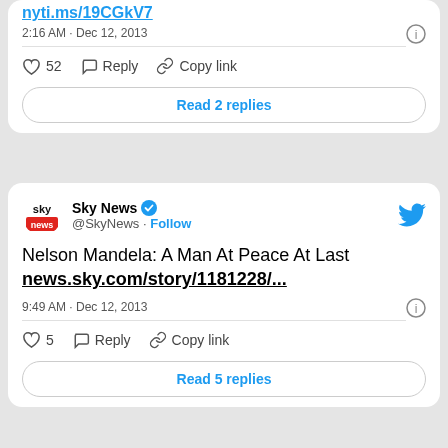[Figure (screenshot): Partial Twitter/X tweet card showing timestamp 2:16 AM · Dec 12, 2013, 52 likes, Reply, Copy link actions, and Read 2 replies button]
[Figure (screenshot): Full Twitter/X tweet card from Sky News (@SkyNews) with Follow button and blue Twitter bird icon. Tweet text: 'Nelson Mandela: A Man At Peace At Last news.sky.com/story/1181228/...' Timestamp: 9:49 AM · Dec 12, 2013. 5 likes, Reply, Copy link actions, and Read 5 replies button.]